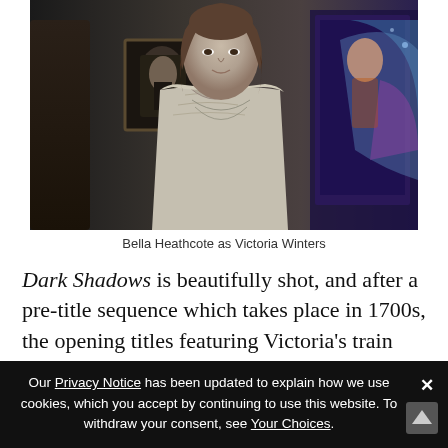[Figure (photo): A woman (Bella Heathcote as Victoria Winters) in a light lace blouse standing in front of framed portraits and colorful artwork in a dark, moody setting.]
Bella Heathcote as Victoria Winters
Dark Shadows is beautifully shot, and after a pre-title sequence which takes place in 1700s, the opening titles featuring Victoria’s train ride to Collinsport sets the stage for a movie which will look like a painting in almost every frame. Coming up for a word to describe this visual aesthetic could range from “Burton-
Our Privacy Notice has been updated to explain how we use cookies, which you accept by continuing to use this website. To withdraw your consent, see Your Choices.